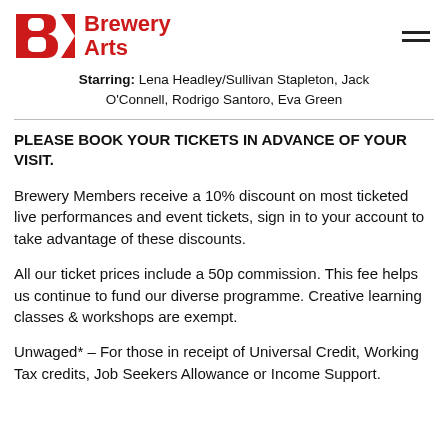Brewery Arts
Starring: Lena Headley/Sullivan Stapleton, Jack O'Connell, Rodrigo Santoro, Eva Green
PLEASE BOOK YOUR TICKETS IN ADVANCE OF YOUR VISIT.
Brewery Members receive a 10% discount on most ticketed live performances and event tickets, sign in to your account to take advantage of these discounts.
All our ticket prices include a 50p commission. This fee helps us continue to fund our diverse programme. Creative learning classes & workshops are exempt.
Unwaged* – For those in receipt of Universal Credit, Working Tax credits, Job Seekers Allowance or Income Support.